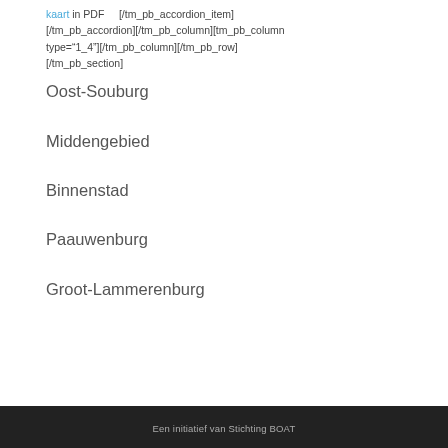kaart in PDF    [/tm_pb_accordion_item]
[/tm_pb_accordion][/tm_pb_column][tm_pb_column type="1_4"][/tm_pb_column][/tm_pb_row]
[/tm_pb_section]
Oost-Souburg
Middengebied
Binnenstad
Paauwenburg
Groot-Lammerenburg
Een initiatief van Stichting BOAT